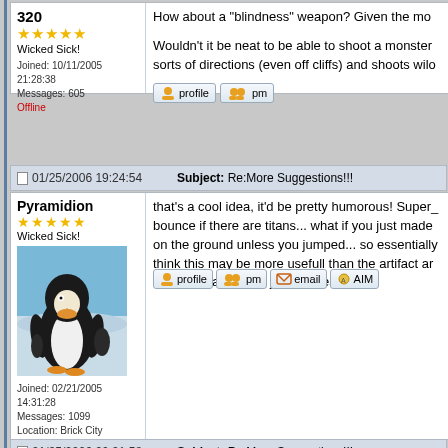320
Wicked Sick!
Joined: 10/11/2005 21:28:38
Messages: 605
Offline
How about a "blindness" weapon? Given the mo...
Wouldn't it be neat to be able to shoot a monster... sorts of directions (even off cliffs) and shoots wilo...
01/25/2006 19:24:54  Subject: Re:More Suggestions!!!
Pyramidion
Wicked Sick!
Joined: 02/21/2005 14:31:28
Messages: 1099
Location: Brick City
Offline
[Figure (photo): Emperor penguin standing on snow/ice with other penguins in background]
that's a cool idea, it'd be pretty humorous! Super_ bounce if there are titans... what if you just made on the ground unless you jumped... so essentially think this may be more usefull than the artifact ar type of weapon, but just an idea
01/25/2006 20:21:58  Subject: Re:More Suggestions!!!
Tidul